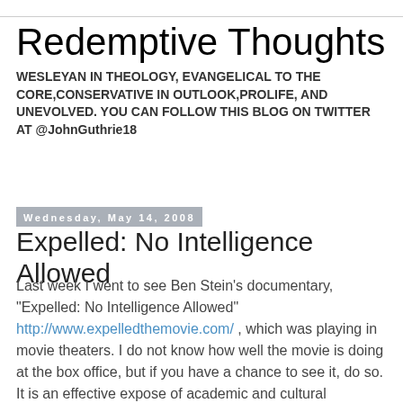Redemptive Thoughts
WESLEYAN IN THEOLOGY, EVANGELICAL TO THE CORE,CONSERVATIVE IN OUTLOOK,PROLIFE, AND UNEVOLVED. YOU CAN FOLLOW THIS BLOG ON TWITTER AT @JohnGuthrie18
Wednesday, May 14, 2008
Expelled: No Intelligence Allowed
Last week I went to see Ben Stein's documentary, "Expelled: No Intelligence Allowed" http://www.expelledthemovie.com/ , which was playing in movie theaters. I do not know how well the movie is doing at the box office, but if you have a chance to see it, do so. It is an effective expose of academic and cultural prejudice against critics of Darwinian Evolution.
"Expelled" is not an overtly Christian film. Ben Stein has stated that he is not a Christian. He is best known as an